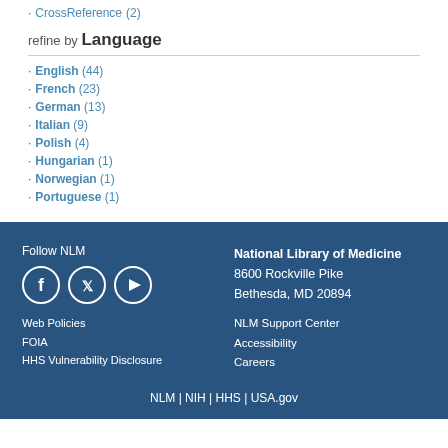CrossReference (2)
refine by Language
English (44)
French (23)
German (13)
Italian (9)
Polish (4)
Hungarian (1)
Norwegian (1)
Portuguese (1)
Follow NLM | National Library of Medicine 8600 Rockville Pike Bethesda, MD 20894 | Web Policies | FOIA | HHS Vulnerability Disclosure | NLM Support Center | Accessibility | Careers | NLM | NIH | HHS | USA.gov